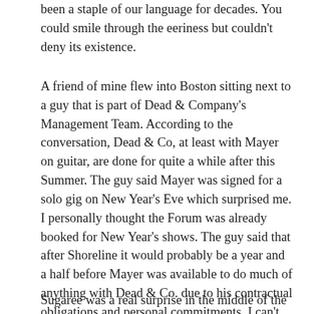been a staple of our language for decades. You could smile through the eeriness but couldn't deny its existence.
A friend of mine flew into Boston sitting next to a guy that is part of Dead & Company's Management Team. According to the conversation, Dead & Co, at least with Mayer on guitar, are done for quite a while after this Summer. The guy said Mayer was signed for a solo gig on New Year's Eve which surprised me. I personally thought the Forum was already booked for New Year's shows. The guy said that after Shoreline it would probably be a year and a half before Mayer was available to do much of anything with Dead & Co. due to his contractual obligations and personal commitments. I can't confirm if any of that is true but it's info that was passed along from a friend. I hope it's not true, but I had the conversation earlier in the day Saturday. This paragraph is here for a reason...
Sugaree was a real surprise in the middle of the second set